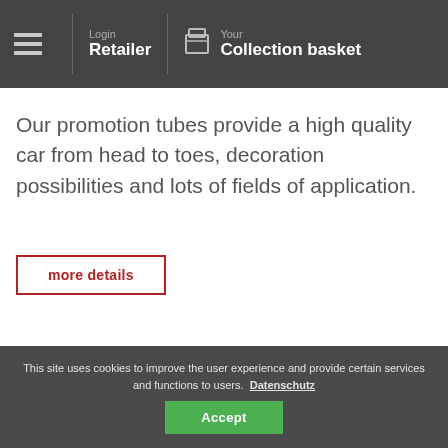Login Retailer | Your Collection basket
Our promotion tubes provide a high quality car from head to toes, decoration possibilities and lots of fields of application.
more details
This site uses cookies to improve the user experience and provide certain services and functions to users. Datenschutz Accept